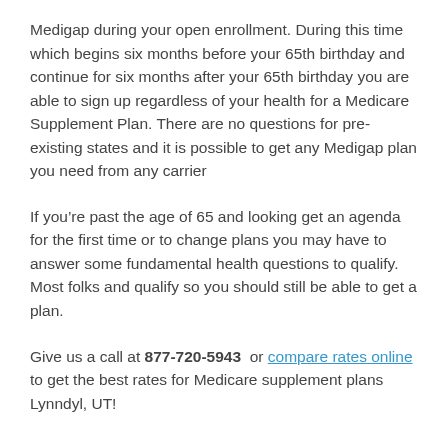Medigap during your open enrollment. During this time which begins six months before your 65th birthday and continue for six months after your 65th birthday you are able to sign up regardless of your health for a Medicare Supplement Plan. There are no questions for pre-existing states and it is possible to get any Medigap plan you need from any carrier
If you're past the age of 65 and looking get an agenda for the first time or to change plans you may have to answer some fundamental health questions to qualify. Most folks and qualify so you should still be able to get a plan.
Give us a call at 877-720-5943 or compare rates online to get the best rates for Medicare supplement plans Lynndyl, UT!